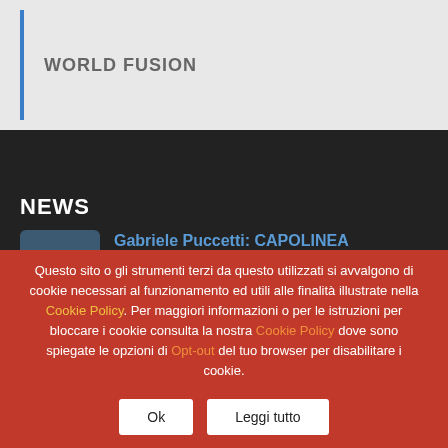WORLD FUSION
NEWS
Gabriele Puccetti: CAPOLINEA
Note biografiche di: Gabriele Puccetti Nato a Livorno
Questo sito o gli strumenti terzi da questo utilizzati si avvalgono di cookie necessari al funzionamento ed utili alle finalità illustrate nella Cookie Policy. Per maggiori informazioni o per le istruzioni per bloccare i cookie consulta la nostra Cookie Policy dove sono spiegate le opzioni di Opt-out del tuo browser per disabilitare i cookie.
Ok | Leggi tutto